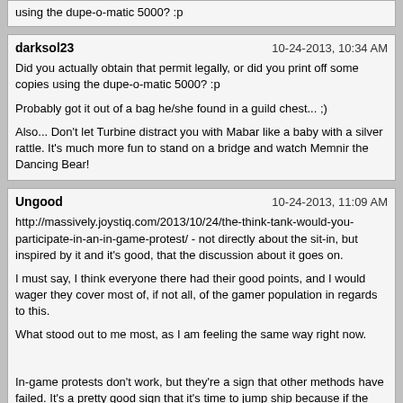using the dupe-o-matic 5000? :p
darksol23
10-24-2013, 10:34 AM
Did you actually obtain that permit legally, or did you print off some copies using the dupe-o-matic 5000? :p

Probably got it out of a bag he/she found in a guild chest... ;)

Also... Don't let Turbine distract you with Mabar like a baby with a silver rattle. It's much more fun to stand on a bridge and watch Memnir the Dancing Bear!
Ungood
10-24-2013, 11:09 AM
http://massively.joystiq.com/2013/10/24/the-think-tank-would-you-participate-in-an-in-game-protest/ - not directly about the sit-in, but inspired by it and it's good, that the discussion about it goes on.

I must say, I think everyone there had their good points, and I would wager they cover most of, if not all, of the gamer population in regards to this.

What stood out to me most, as I am feeling the same way right now.

In-game protests don't work, but they're a sign that other methods have failed. It's a pretty good sign that it's time to jump ship because if the devs were willing to listen to feedback, they would have long before you guys logged in to whine and take screenshots.

This I think is what is hitting home to me most. I never plan to "protest" again for a game, when things have gone to that point, they really have gone too far.
Lanhelin
10-24-2013, 11:11 AM
The bridge sit-in on Wayfinder now lasts more than 122 hours, the three